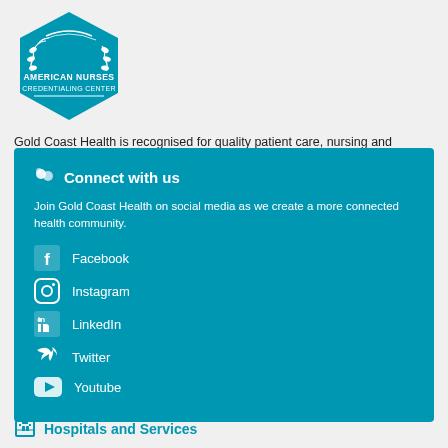[Figure (logo): American Nurses Credentialing Center logo — teal diamond/shield shape with white laurel branches and text 'AMERICAN NURSES CREDENTIALING CENTER']
Gold Coast Health is recognised for quality patient care, nursing and midwifery excellence and innovations in professional nursing and midwifery practice under the Magnet® Recognition Program.
Connect with us
Join Gold Coast Health on social media as we create a more connected health community.
Facebook
Instagram
LinkedIn
Twitter
Youtube
Hospitals and Services